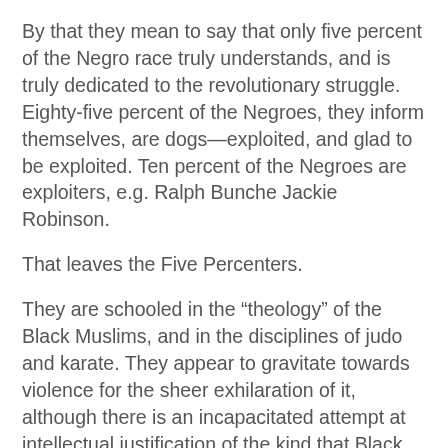By that they mean to say that only five percent of the Negro race truly understands, and is truly dedicated to the revolutionary struggle. Eighty-five percent of the Negroes, they inform themselves, are dogs—exploited, and glad to be exploited. Ten percent of the Negroes are exploiters, e.g. Ralph Bunche Jackie Robinson.
That leaves the Five Percenters.
They are schooled in the “theology” of the Black Muslims, and in the disciplines of judo and karate. They appear to gravitate towards violence for the sheer exhilaration of it, although there is an incapacitated attempt at intellectual justification of the kind that Black Muslimism furnishes.
The Five Percenters have a leader who, providentially, is in jail. He is Allah, and Allah cannot at the moment get his hands on $9,500 to bail himself